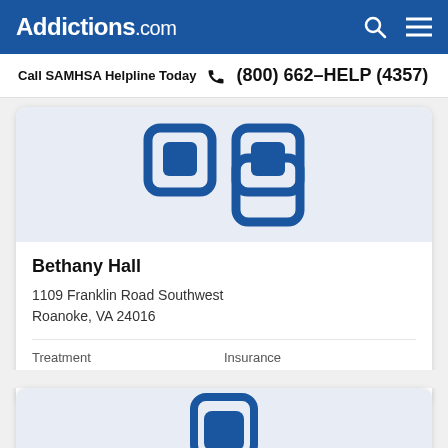Addictions.com
Call SAMHSA Helpline Today  (800) 662-HELP (4357)
[Figure (logo): Addictions.com facility placeholder logo icon in blue on light grey background, partially cropped at top]
Bethany Hall
1109 Franklin Road Southwest
Roanoke, VA 24016
Treatment
Inpatient
Insurance
Medicaid  Private
[Figure (logo): Addictions.com facility placeholder logo icon in blue on light grey background, partially visible at bottom of page]